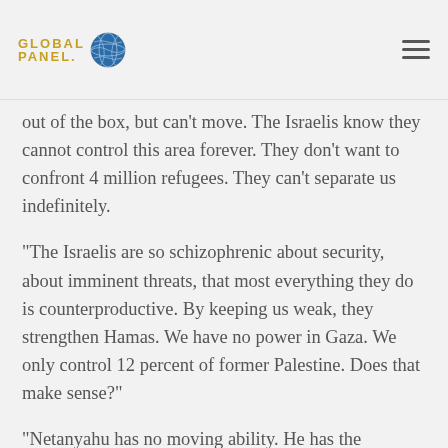GLOBAL PANEL
out of the box, but can't move. The Israelis know they cannot control this area forever. They don't want to confront 4 million refugees. They can't separate us indefinitely.
“The Israelis are so schizophrenic about security, about imminent threats, that most everything they do is counterproductive. By keeping us weak, they strengthen Hamas. We have no power in Gaza. We only control 12 percent of former Palestine. Does that make sense?”
“Netanyahu has no moving ability. He has the xenophobic Shas Party and the rightist